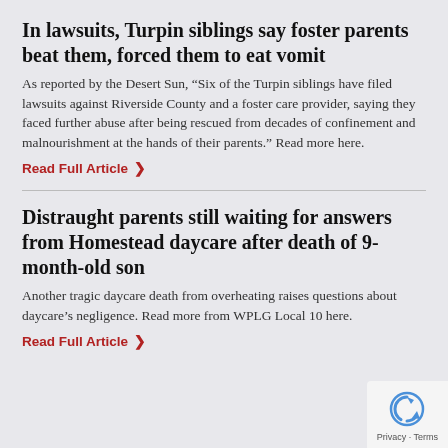In lawsuits, Turpin siblings say foster parents beat them, forced them to eat vomit
As reported by the Desert Sun, “Six of the Turpin siblings have filed lawsuits against Riverside County and a foster care provider, saying they faced further abuse after being rescued from decades of confinement and malnourishment at the hands of their parents.” Read more here.
Read Full Article ❯
Distraught parents still waiting for answers from Homestead daycare after death of 9-month-old son
Another tragic daycare death from overheating raises questions about daycare’s negligence. Read more from WPLG Local 10 here.
Read Full Article ❯